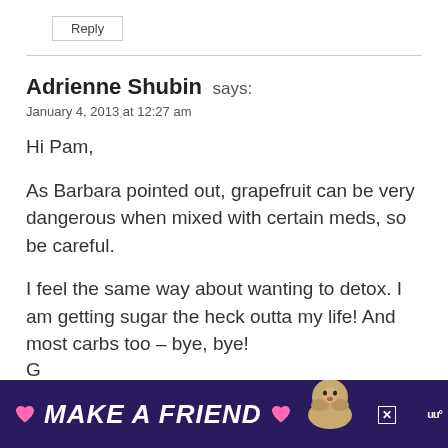Reply
Adrienne Shubin says:
January 4, 2013 at 12:27 am
Hi Pam,

As Barbara pointed out, grapefruit can be very dangerous when mixed with certain meds, so be careful.

I feel the same way about wanting to detox. I am getting sugar the heck outta my life! And most carbs too – bye, bye!
[Figure (infographic): Advertisement banner at bottom: dark purple background with 'MAKE A FRIEND' text in white bold italic, heart icon, dog illustration, close button, and logo icon.]